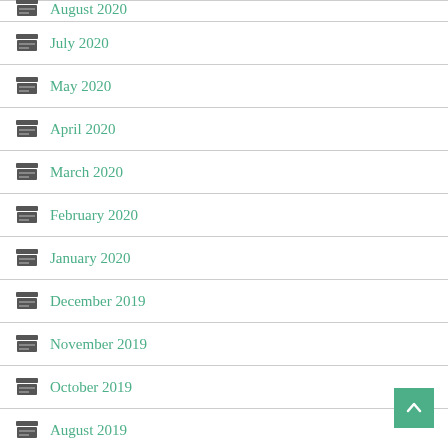August 2020
July 2020
May 2020
April 2020
March 2020
February 2020
January 2020
December 2019
November 2019
October 2019
August 2019